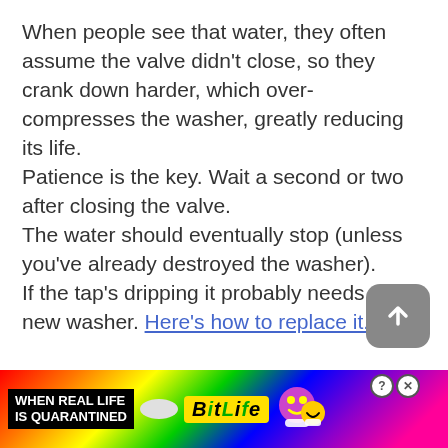When people see that water, they often assume the valve didn't close, so they crank down harder, which over-compresses the washer, greatly reducing its life.
Patience is the key. Wait a second or two after closing the valve.
The water should eventually stop (unless you've already destroyed the washer).
If the tap's dripping it probably needs a new washer. Here's how to replace it.
[Figure (infographic): Advertisement banner for BitLife mobile app with rainbow background, showing text WHEN REAL LIFE IS QUARANTINED with BitLife logo and emoji characters]